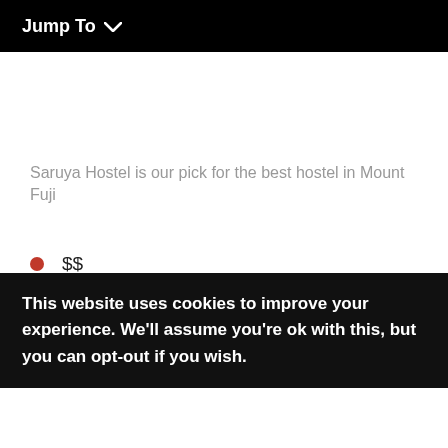Jump To ∨
Saruya Hostel is our pick for the best hostel in Mount Fuji
$$
Free Airport Transfer
This website uses cookies to improve your experience. We'll assume you're ok with this, but you can opt-out if you wish.